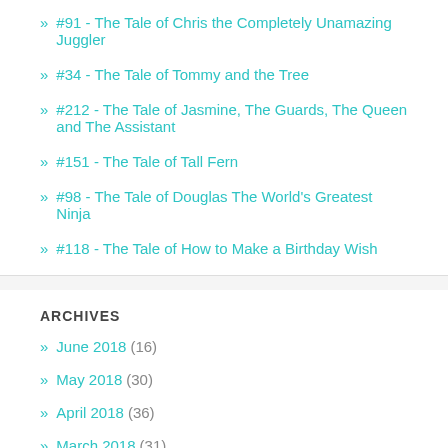#91 - The Tale of Chris the Completely Unamazing Juggler
#34 - The Tale of Tommy and the Tree
#212 - The Tale of Jasmine, The Guards, The Queen and The Assistant
#151 - The Tale of Tall Fern
#98 - The Tale of Douglas The World's Greatest Ninja
#118 - The Tale of How to Make a Birthday Wish
ARCHIVES
June 2018 (16)
May 2018 (30)
April 2018 (36)
March 2018 (31)
February 2018 (31)